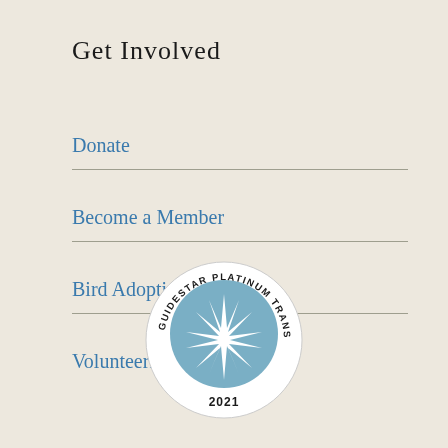Get Involved
Donate
Become a Member
Bird Adoptions
Volunteering/Internships
[Figure (logo): GuideStar Platinum Transparency 2021 seal/badge — circular badge with blue background showing a star, surrounded by text reading GUIDESTAR PLATINUM TRANSPARENCY and 2021 at the bottom]